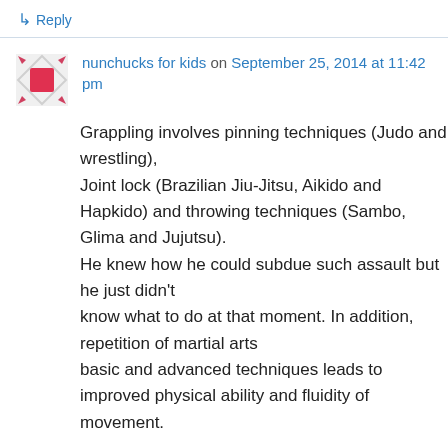↳ Reply
nunchucks for kids on September 25, 2014 at 11:42 pm
Grappling involves pinning techniques (Judo and wrestling), Joint lock (Brazilian Jiu-Jitsu, Aikido and Hapkido) and throwing techniques (Sambo, Glima and Jujutsu). He knew how he could subdue such assault but he just didn't know what to do at that moment. In addition, repetition of martial arts basic and advanced techniques leads to improved physical ability and fluidity of movement.